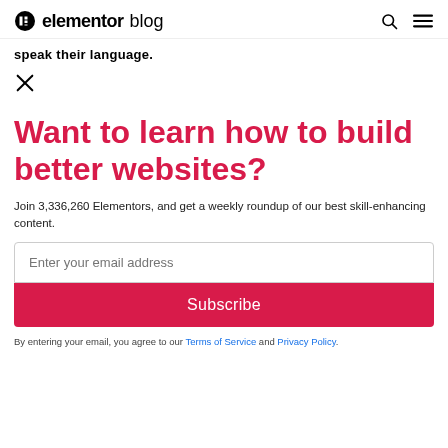Elementor blog
speak their language.
✕
Want to learn how to build better websites?
Join 3,336,260 Elementors, and get a weekly roundup of our best skill-enhancing content.
Enter your email address
Subscribe
By entering your email, you agree to our Terms of Service and Privacy Policy.